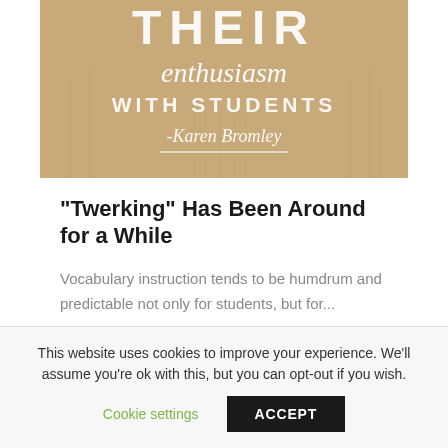[Figure (photo): Book or poster cover on a tan/kraft paper textured background showing text 'THEIR enthusiasm WITH STUDENTS -Karen Bromley' in white serif and sans-serif fonts with a decorative horizontal rule]
"Twerking" Has Been Around for a While
Vocabulary instruction tends to be humdrum and predictable not only for students, but for...
This website uses cookies to improve your experience. We'll assume you're ok with this, but you can opt-out if you wish.
Cookie settings   ACCEPT